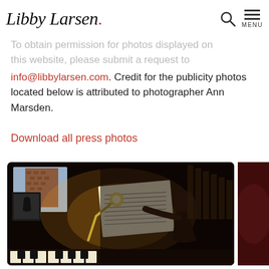Libby Larsen
To obtain permission for photos displayed on this website, please submit a request to info@libbylarsen.com. Credit for the publicity photos located below is attributed to photographer Ann Marsden.
Download all press photos
[Figure (photo): A person sitting at a piano desk, illuminated by a lamp, writing or reading sheet music. Dark background with a window visible showing a brick building outside. Various items on the desk including a framed picture.]